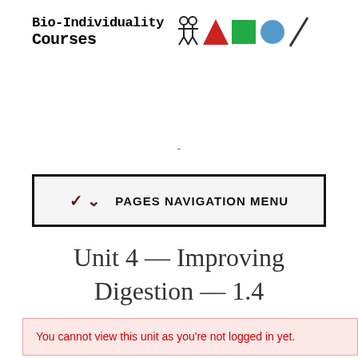[Figure (logo): Bio-Individuality Courses logo with text and geometric icons: person/figure icon, red triangle, green square, blue circle, and diagonal line]
-
PAGES NAVIGATION MENU
Unit 4 — Improving Digestion — 1.4
You cannot view this unit as you're not logged in yet.